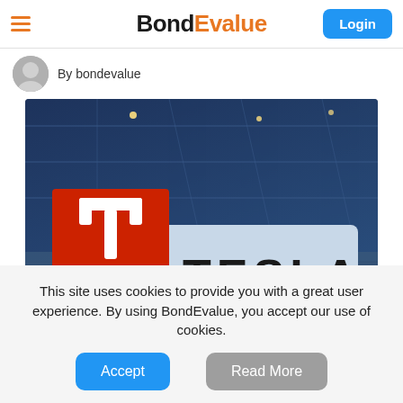BondEvalue | Login
By bondevalue
[Figure (photo): Tesla store sign with illuminated TESLA lettering and red Tesla logo panel, photographed at dusk against a glass building facade with blue lighting]
This site uses cookies to provide you with a great user experience. By using BondEvalue, you accept our use of cookies.